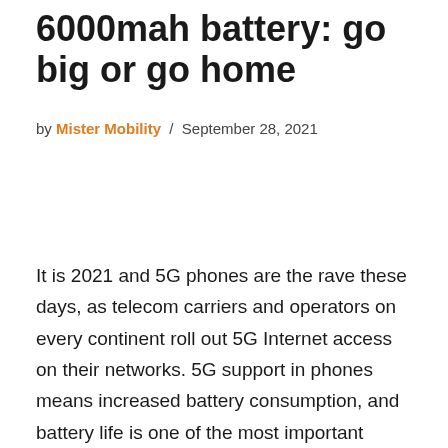6000mah battery: go big or go home
by Mister Mobility / September 28, 2021
It is 2021 and 5G phones are the rave these days, as telecom carriers and operators on every continent roll out 5G Internet access on their networks. 5G support in phones means increased battery consumption, and battery life is one of the most important features on smartphones. You asked, and we have drawn up